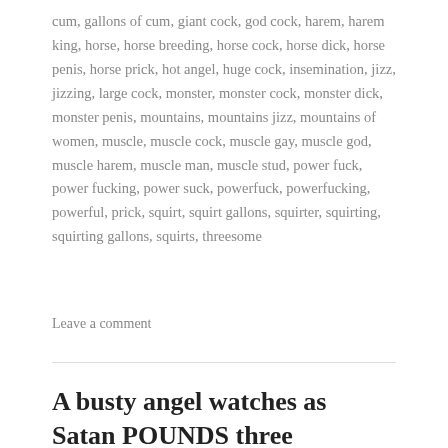cum, gallons of cum, giant cock, god cock, harem, harem king, horse, horse breeding, horse cock, horse dick, horse penis, horse prick, hot angel, huge cock, insemination, jizz, jizzing, large cock, monster, monster cock, monster dick, monster penis, mountains, mountains jizz, mountains of women, muscle, muscle cock, muscle gay, muscle god, muscle harem, muscle man, muscle stud, power fuck, power fucking, power suck, powerfuck, powerfucking, powerful, prick, squirt, squirt gallons, squirter, squirting, squirting gallons, squirts, threesome
Leave a comment
A busty angel watches as Satan POUNDS three muscular demonesses with his 40-inch monster cock! [FREE PAGES]